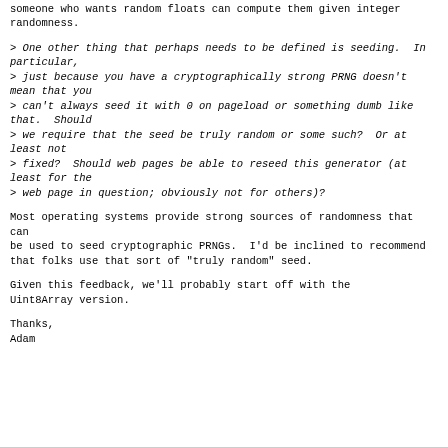someone who wants random floats can compute them given integer
randomness.
> One other thing that perhaps needs to be defined is seeding.  In particular,
> just because you have a cryptographically strong PRNG doesn't mean that you
> can't always seed it with 0 on pageload or something dumb like that.  Should
> we require that the seed be truly random or some such?  Or at least not
> fixed?  Should web pages be able to reseed this generator (at least for the
> web page in question; obviously not for others)?
Most operating systems provide strong sources of randomness that can
be used to seed cryptographic PRNGs.  I'd be inclined to recommend
that folks use that sort of "truly random" seed.
Given this feedback, we'll probably start off with the Uint8Array version.
Thanks,
Adam